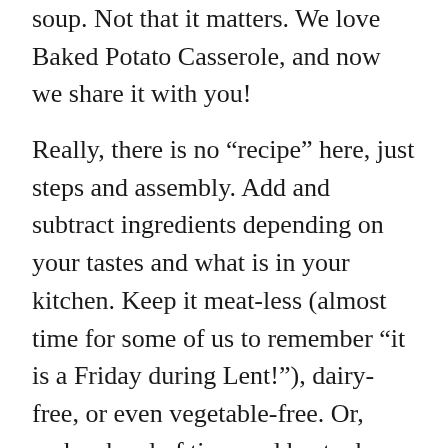soup. Not that it matters. We love Baked Potato Casserole, and now we share it with you!
Really, there is no “recipe” here, just steps and assembly. Add and subtract ingredients depending on your tastes and what is in your kitchen. Keep it meat-less (almost time for some of us to remember “it is a Friday during Lent!”), dairy-free, or even vegetable-free. Or, make ahead of time and heat when needed. A flexible dish with no rules that can be made the night before? That is my favorite kind.